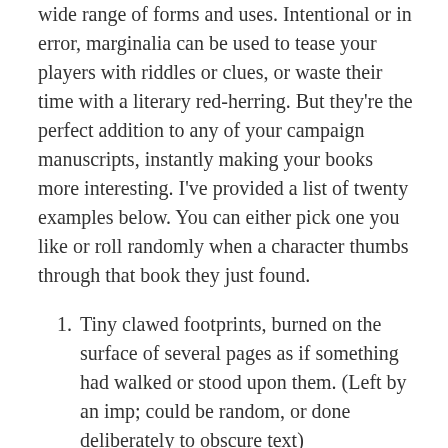wide range of forms and uses. Intentional or in error, marginalia can be used to tease your players with riddles or clues, or waste their time with a literary red-herring. But they're the perfect addition to any of your campaign manuscripts, instantly making your books more interesting. I've provided a list of twenty examples below. You can either pick one you like or roll randomly when a character thumbs through that book they just found.
Tiny clawed footprints, burned on the surface of several pages as if something had walked or stood upon them. (Left by an imp; could be random, or done deliberately to obscure text)
A series of small drawings in the margins of each page, depicting the comic (and sometimes lewd) misadventures of a flaxen-haired elf and a